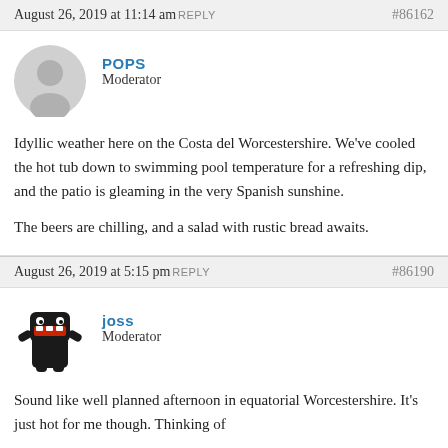August 26, 2019 at 11:14 am REPLY  #86162
[Figure (illustration): Grey circular avatar icon with silhouette of a person (head and shoulders)]
POPS
Moderator
Idyllic weather here on the Costa del Worcestershire. We've cooled the hot tub down to swimming pool temperature for a refreshing dip, and the patio is gleaming in the very Spanish sunshine.

The beers are chilling, and a salad with rustic bread awaits.
August 26, 2019 at 5:15 pm REPLY  #86190
[Figure (illustration): Black cartoon monster avatar (Domo-kun style) with raised arms]
joss
Moderator
Sound like well planned afternoon in equatorial Worcestershire. It's just hot for me though. Thinking of